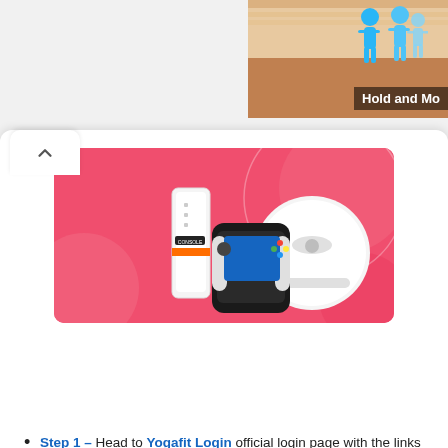[Figure (screenshot): Partial top banner showing a game or app thumbnail with blue figure icons and text 'Hold and Mo' (truncated), sandy/orange background]
[Figure (screenshot): Pink/coral advertisement banner showing electronic devices including a gaming console, Nintendo Switch-style controller, and a robot vacuum cleaner on a pink background with circular design elements]
Here Is A Troubleshooting Guide, In Case Things Go Wrong On Your Side.
Step 1 – Head to Yogafit Login official login page with the links provided below. Upon clicking, your browser will automatically open a new tab for further troubleshooting procedures if you need